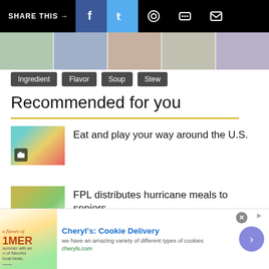SHARE THIS →
Ingredient
Flavor
Soup
Stew
Recommended for you
Eat and play your way around the U.S.
FPL distributes hurricane meals to seniors
Unexpected spaces
Cheryl's: Cookie Delivery
we have an amazing variety of different types of cookies
cheryls.com